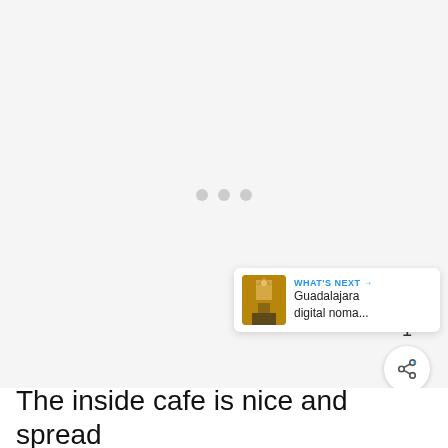[Figure (photo): Image loading placeholder with three grey dots indicating content loading state]
1
WHAT'S NEXT → Guadalajara digital noma...
The inside cafe is nice and spread